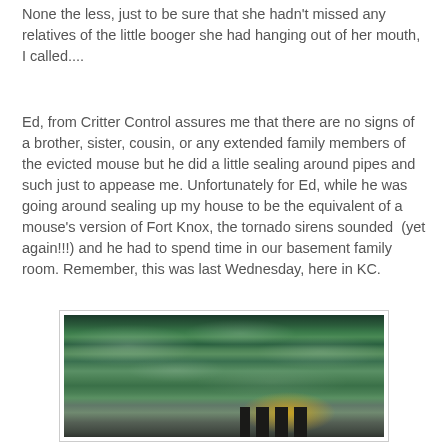None the less, just to be sure that she hadn't missed any relatives of the little booger she had hanging out of her mouth, I called....
Ed, from Critter Control assures me that there are no signs of a brother, sister, cousin, or any extended family members of the evicted mouse but he did a little sealing around pipes and such just to appease me.  Unfortunately for Ed, while he was going around sealing up my house to be the equivalent of a mouse's version of Fort Knox, the tornado sirens sounded  (yet again!!!) and he had to spend time in our basement family room.  Remember, this was last Wednesday, here in KC.
[Figure (photo): A dramatic green-tinted storm sky with swirling dark clouds looming over a city skyline, suggesting a tornado or severe storm warning over Kansas City.]